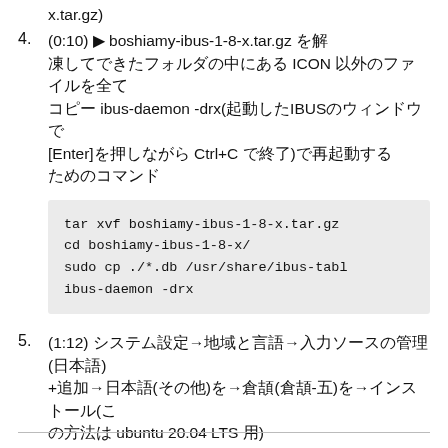x.tar.gz)
4. (0:10) ▶ boshiamy-ibus-1-8-x.tar.gz を解凍して出てきたフォルダの中にある ICON 以外のファイルを全て ibus-daemon -drx(起動したIBUSのウィンドウで[Enter]を押しながら Ctrl+C で終了)で再起動する
tar xvf boshiamy-ibus-1-8-x.tar.gz
cd boshiamy-ibus-1-8-x/
sudo cp ./*.db /usr/share/ibus-tabl
ibus-daemon -drx
5. (1:12) システム設定→地域と言語→入力ソースの管理(日本語)+追加→日本語(その他)を→倉頡(倉頡-五)を→インストール(この方法は ubuntu 20.04 LTS 用)